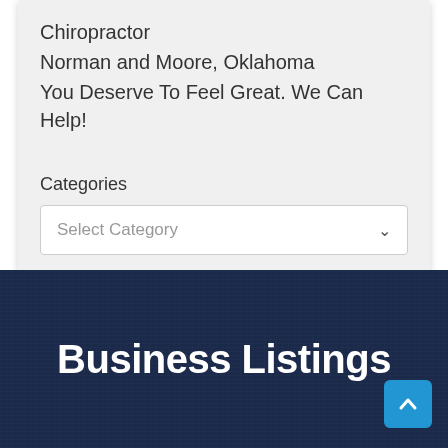Chiropractor
Norman and Moore, Oklahoma
You Deserve To Feel Great. We Can Help!
Categories
Select Category
Business Listings